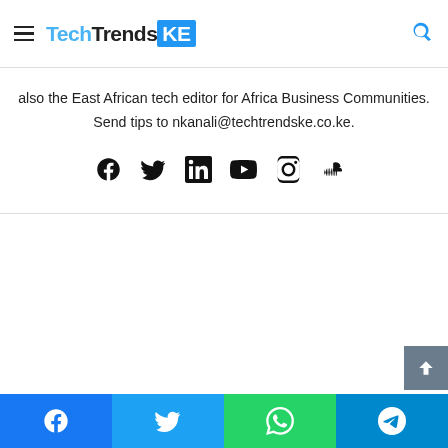TechTrendsKE
also the East African tech editor for Africa Business Communities. Send tips to nkanali@techtrendske.co.ke.
[Figure (infographic): Social media icons row: Facebook, Twitter, LinkedIn, YouTube, Instagram, SoundCloud]
[Figure (infographic): Scroll to top button (dark grey arrow up)]
[Figure (infographic): Bottom share bar with Facebook, Twitter, WhatsApp, Telegram icons]